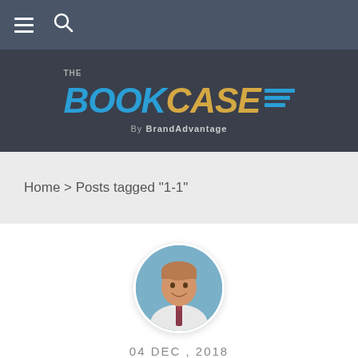Navigation bar with hamburger menu and search icon
[Figure (logo): The Bookcase by BrandAdvantage logo with blue BOOK and gold CASE text on dark background]
Home > Posts tagged "1-1"
[Figure (photo): Circular profile photo of a man in a white shirt and tie against a blue background]
04 DEC , 2018